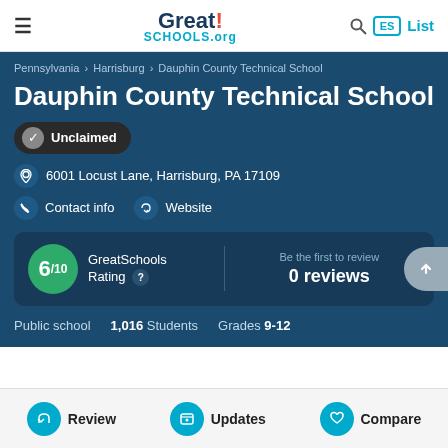GreatSchools.org
Pennsylvania › Harrisburg › Dauphin County Technical School
Dauphin County Technical School
Unclaimed
6001 Locust Lane, Harrisburg, PA 17109
Contact info   Website
GreatSchools Rating  6/10   Be the first to review  0 reviews
Public school   1,016 Students   Grades 9-12
Review   Updates   Compare